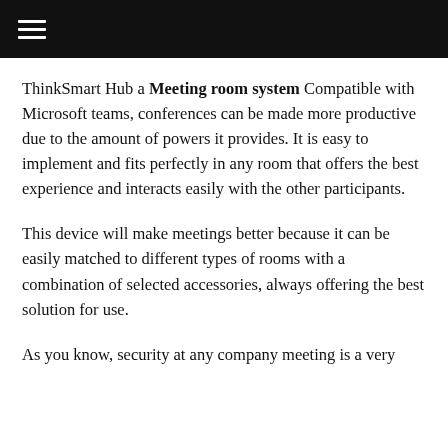ThinkSmart Hub a Meeting room system Compatible with Microsoft teams, conferences can be made more productive due to the amount of powers it provides. It is easy to implement and fits perfectly in any room that offers the best experience and interacts easily with the other participants.
This device will make meetings better because it can be easily matched to different types of rooms with a combination of selected accessories, always offering the best solution for use.
As you know, security at any company meeting is a very